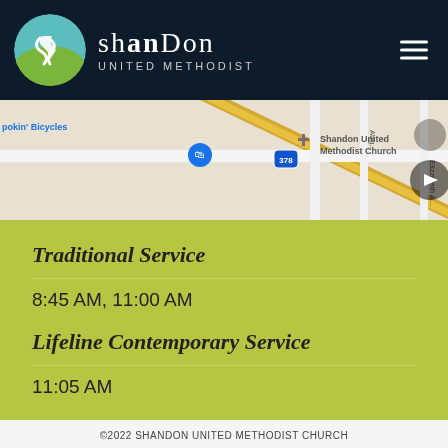Shandon United Methodist
[Figure (map): Google Maps screenshot showing location of Shandon United Methodist Church near route 378, with nearby landmark 'pokin' Bicycles visible]
Traditional Service
8:45 AM, 11:00 AM
Lifeline Contemporary Service
11:05 AM
©2022 SHANDON UNITED METHODIST CHURCH • SITEMAP • PRIVACY POLICY • WEBSITE DESIGN BY: splash omnimedia